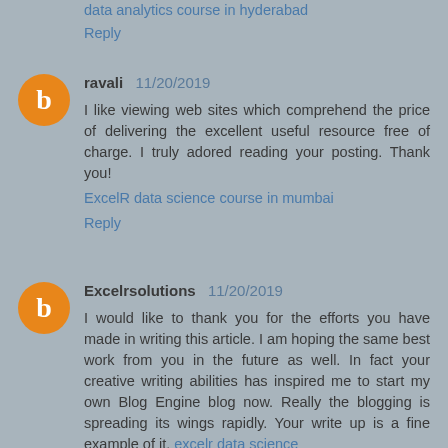keep on sharing more in good form.
data analytics course in hyderabad
Reply
ravali 11/20/2019
I like viewing web sites which comprehend the price of delivering the excellent useful resource free of charge. I truly adored reading your posting. Thank you!
ExcelR data science course in mumbai
Reply
Excelrsolutions 11/20/2019
I would like to thank you for the efforts you have made in writing this article. I am hoping the same best work from you in the future as well. In fact your creative writing abilities has inspired me to start my own Blog Engine blog now. Really the blogging is spreading its wings rapidly. Your write up is a fine example of it. excelr data science
Reply